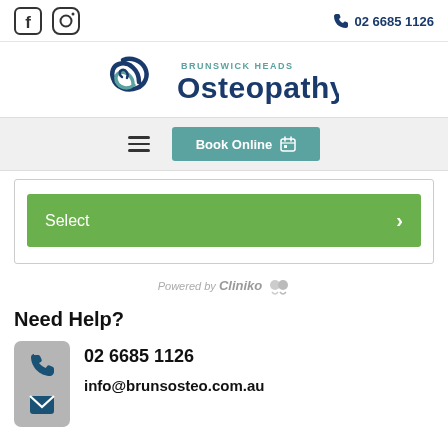02 6685 1126
[Figure (logo): Brunswick Heads Osteopathy logo with swirl icon]
[Figure (screenshot): Navigation bar with hamburger menu and Book Online button]
[Figure (screenshot): Green Select button with chevron on booking widget]
Powered by Cliniko
Need Help?
02 6685 1126
info@brunsosteo.com.au